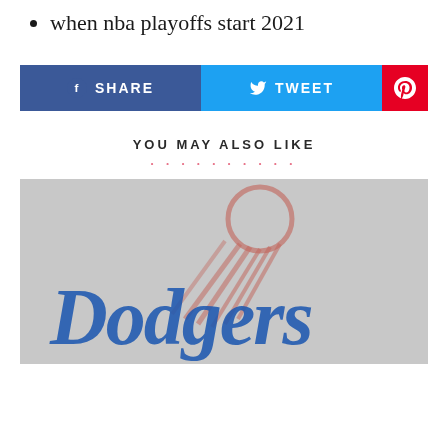when nba playoffs start 2021
[Figure (other): Social share buttons: Facebook SHARE (blue), Twitter TWEET (cyan), Pinterest (red)]
YOU MAY ALSO LIKE
[Figure (photo): Blurred image of the Los Angeles Dodgers logo on a grey background, showing the Dodgers script in blue and a basketball/hand graphic in red]